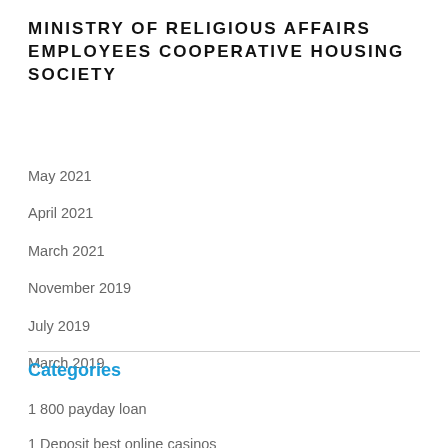MINISTRY OF RELIGIOUS AFFAIRS EMPLOYEES COOPERATIVE HOUSING SOCIETY
May 2021
April 2021
March 2021
November 2019
July 2019
March 2019
Categories
1 800 payday loan
1 Deposit best online casinos